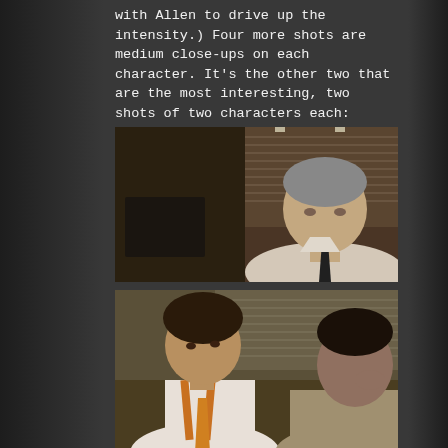with Allen to drive up the intensity.)  Four more shots are medium close-ups on each character.  It's the other two that are the most interesting, two shots of two characters each:
[Figure (photo): Film still showing a man in a white dress shirt and dark tie, seated in what appears to be an office with venetian blinds in the background. The shot is a medium close-up of one character.]
[Figure (photo): Film still showing two men in an office setting. The man on the left wears a white shirt with suspenders and an orange/gold tie. The man on the right is in profile, wearing a lighter colored jacket. This is a two-shot of two characters.]
These symmetrically composed two-shots give a